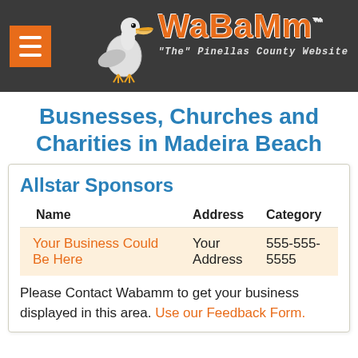WaBaMM - "The" Pinellas County Website
Busnesses, Churches and Charities in Madeira Beach
Allstar Sponsors
| Name | Address | Category |
| --- | --- | --- |
| Your Business Could Be Here | Your Address | 555-555-5555 |
Please Contact Wabamm to get your business displayed in this area. Use our Feedback Form.